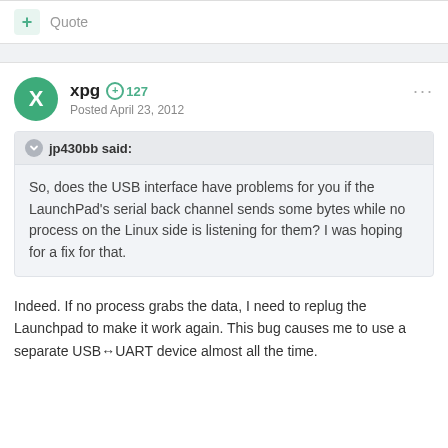Quote
xpg  127
Posted April 23, 2012
jp430bb said:

So, does the USB interface have problems for you if the LaunchPad's serial back channel sends some bytes while no process on the Linux side is listening for them? I was hoping for a fix for that.
Indeed. If no process grabs the data, I need to replug the Launchpad to make it work again. This bug causes me to use a separate USB↔UART device almost all the time.